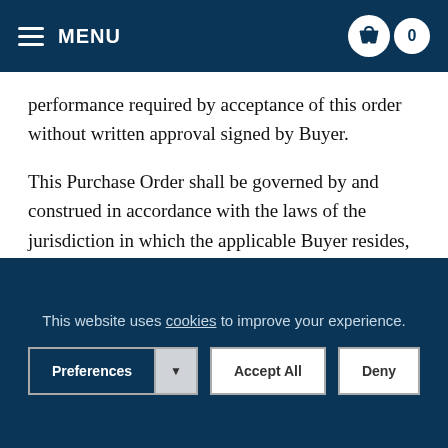MENU | 0
performance required by acceptance of this order without written approval signed by Buyer.
This Purchase Order shall be governed by and construed in accordance with the laws of the jurisdiction in which the applicable Buyer resides, and the parties agree and consent that jurisdiction and venue of all matters relating hereto shall be vested exclusively in the federal, state or other local courts within the jurisdiction of such Buyer. The United Nations Convention on Contracts for International Sales of Goods is explicitly excluded
This website uses cookies to improve your experience.
Preferences | Accept All | Deny